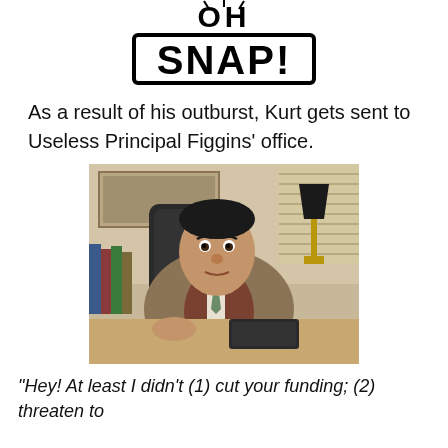[Figure (logo): Oh Snap! comic-style logo with bold outlined text]
As a result of his outburst, Kurt gets sent to Useless Principal Figgins' office.
[Figure (photo): A man in a tan/brown blazer and patterned sweater vest sitting at a desk in an office, leaning forward with hands on desk, with a lamp and bookshelf visible in the background. Appears to be Principal Figgins from Glee.]
“Hey!  At least I didn’t (1) cut your funding; (2) threaten to